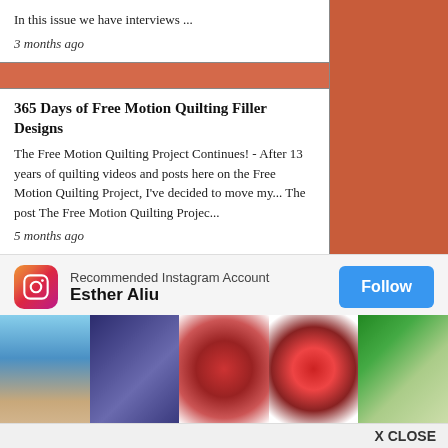In this issue we have interviews ...
3 months ago
365 Days of Free Motion Quilting Filler Designs
The Free Motion Quilting Project Continues! - After 13 years of quilting videos and posts here on the Free Motion Quilting Project, I've decided to move my... The post The Free Motion Quilting Projec...
5 months ago
Bejeweledquilts by barb
AWESOME THINGS HAPPENING OVER HERE...... NOPE I HAVEN'T BEEN MISSING BUT I AM BACK!!!!! - For starters, I have had computer and internet troubles, so it just was... hap...
5 m...
AN...
[Figure (screenshot): Instagram recommended account overlay showing Esther Aliu with Follow button and photo thumbnails including ocean, quilts]
Recommended Instagram Account
Esther Aliu
X CLOSE